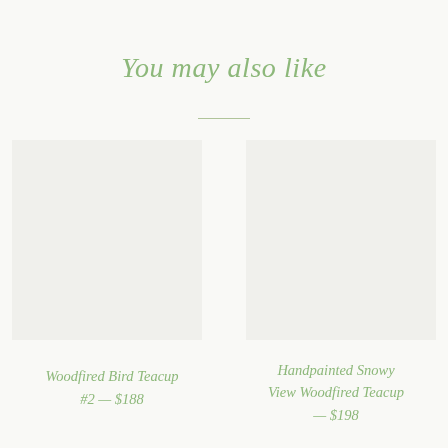You may also like
[Figure (photo): Product image placeholder for Woodfired Bird Teacup #2]
Woodfired Bird Teacup #2 — $188
[Figure (photo): Product image placeholder for Handpainted Snowy View Woodfired Teacup]
Handpainted Snowy View Woodfired Teacup — $198